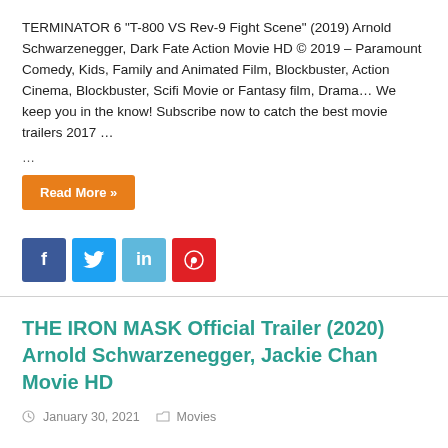TERMINATOR 6 "T-800 VS Rev-9 Fight Scene" (2019) Arnold Schwarzenegger, Dark Fate Action Movie HD © 2019 – Paramount Comedy, Kids, Family and Animated Film, Blockbuster, Action Cinema, Blockbuster, Scifi Movie or Fantasy film, Drama… We keep you in the know! Subscribe now to catch the best movie trailers 2017 …
Read More »
[Figure (other): Social share buttons: Facebook (blue), Twitter (light blue), LinkedIn (light blue), Pinterest (red)]
THE IRON MASK Official Trailer (2020) Arnold Schwarzenegger, Jackie Chan Movie HD
January 30, 2021   Movies